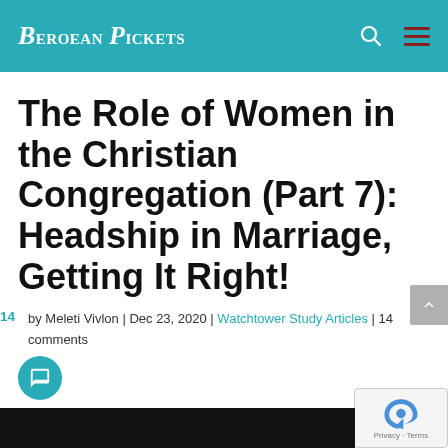Beroean Pickets
The Role of Women in the Christian Congregation (Part 7): Headship in Marriage, Getting It Right!
by Meleti Vivlon | Dec 23, 2020 | Watchtower Study Articles | 14 comments